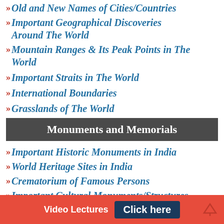Old and New Names of Cities/Countries
Important Geographical Discoveries Around The World
Mountain Ranges & Its Peak Points in The World
Important Straits in The World
International Boundaries
Grasslands of The World
Monuments and Memorials
Important Historic Monuments in India
World Heritage Sites in India
Crematorium of Famous Persons
Important Cultural Monuments/Structures of The World
Video Lectures  Click here